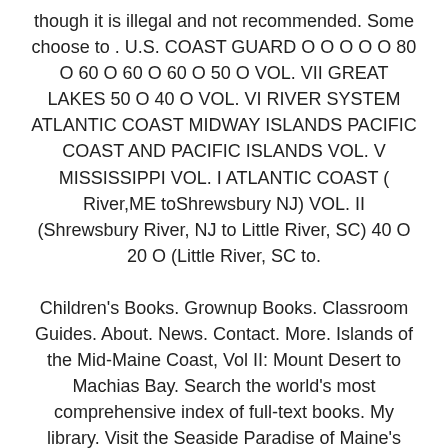though it is illegal and not recommended. Some choose to . U.S. COAST GUARD O O O O O 80 O 60 O 60 O 60 O 50 O VOL. VII GREAT LAKES 50 O 40 O VOL. VI RIVER SYSTEM ATLANTIC COAST MIDWAY ISLANDS PACIFIC COAST AND PACIFIC ISLANDS VOL. V MISSISSIPPI VOL. I ATLANTIC COAST ( River,ME toShrewsbury NJ) VOL. II (Shrewsbury River, NJ to Little River, SC) 40 O 20 O (Little River, SC to.
Children's Books. Grownup Books. Classroom Guides. About. News. Contact. More. Islands of the Mid-Maine Coast, Vol II: Mount Desert to Machias Bay. Search the world's most comprehensive index of full-text books. My library. Visit the Seaside Paradise of Maine's MidCoast & Islands. Maine's MidCoast & Island Region stretches from Bath / Brunswick (26 miles north of Portland), along the coast, northeast to